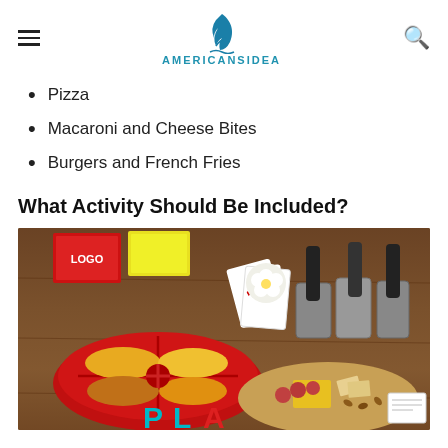AMERICANSIDEA
Pizza
Macaroni and Cheese Bites
Burgers and French Fries
What Activity Should Be Included?
[Figure (photo): A party/game night spread on a wooden table featuring a divided red bowl of popcorn and snacks, beer bottles in metal coolers, a charcuterie board with cheese and crackers, board games including LOGO, playing cards, flowers, and colorful PLAY letter decorations in teal and red.]